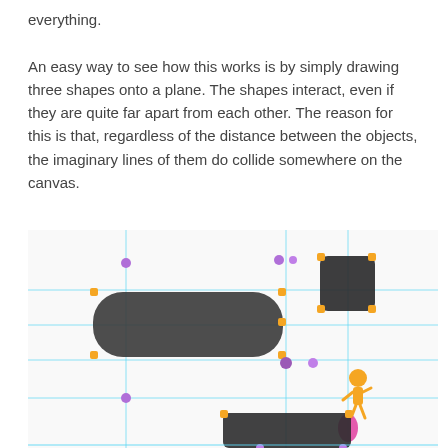everything.

An easy way to see how this works is by simply drawing three shapes onto a plane. The shapes interact, even if they are quite far apart from each other. The reason for this is that, regardless of the distance between the objects, the imaginary lines of them do collide somewhere on the canvas.
[Figure (screenshot): A design canvas screenshot showing three shapes (a wide dark ellipse/rectangle on the left, a small dark rounded square in the upper right, and a dark rectangle at the bottom center) arranged on a white plane with cyan guide lines extending from each shape's edges, orange handle points at shape corners, and small purple/pink dots marking intersection or anchor points. An orange figure icon appears in the lower right area.]